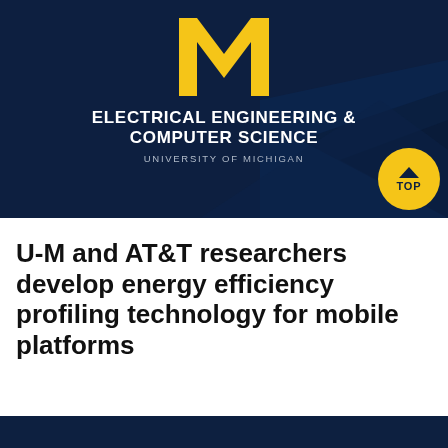[Figure (logo): University of Michigan Electrical Engineering & Computer Science department banner with block M logo on dark navy background, with geometric polygon shapes and a gold circle badge labeled TOP]
U-M and AT&T researchers develop energy efficiency profiling technology for mobile platforms